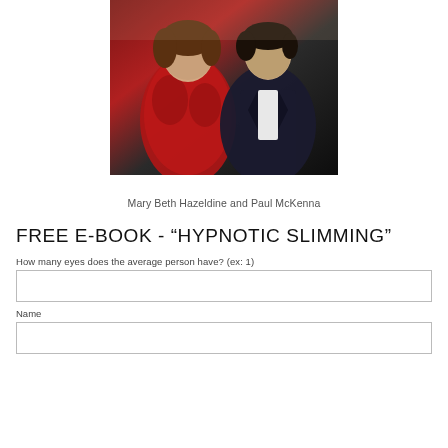[Figure (photo): Photo of two people: a woman in a red patterned blouse on the left and a man in a dark pinstripe suit on the right, posed together indoors.]
Mary Beth Hazeldine and Paul McKenna
FREE E-BOOK - “HYPNOTIC SLIMMING”
How many eyes does the average person have? (ex: 1)
Name